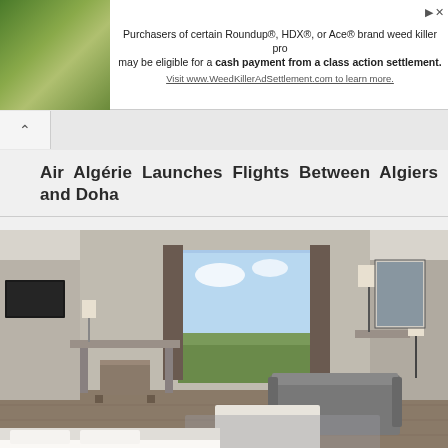[Figure (other): Advertisement banner: photo of yellow flowers on stone wall on left, text about Roundup/HDX/Ace weed killer class action settlement on right, with link to WeedKillerAdSettlement.com]
Air Algérie Launches Flights Between Algiers and Doha
[Figure (photo): Modern hotel room interior with white bedding, neutral tones, large window with outdoor view, desk area, seating area with sofa and coffee table, multiple lamps]
Marriott Opens AC Hotel in Bethesda, Maryland